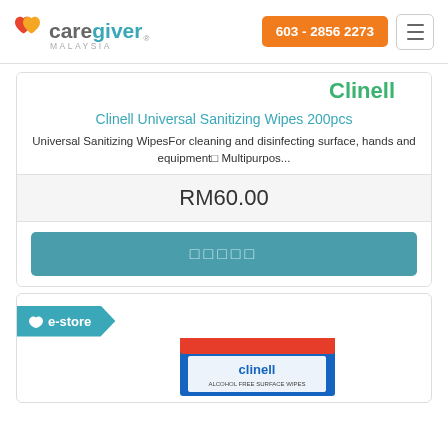[Figure (logo): Caregiver Malaysia logo with orange/red heart icon and teal 'giver' text]
603 - 2856 2273
Clinell Universal Sanitizing Wipes 200pcs
Universal Sanitizing WipesFor cleaning and disinfecting surface, hands and equipment□ Multipurpos...
RM60.00
□□□□□
[Figure (photo): Clinell product box partially visible at bottom of page with e-store badge]